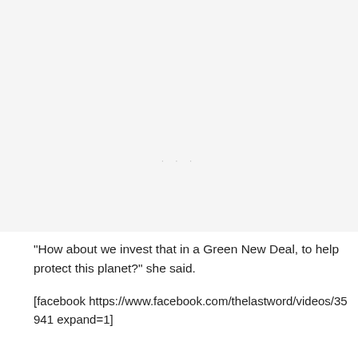[Figure (other): Blank/faded image placeholder area with faint dots in the center]
“How about we invest that in a Green New Deal, to help protect this planet?” she said.
[facebook https://www.facebook.com/thelastword/videos/35941 expand=1]